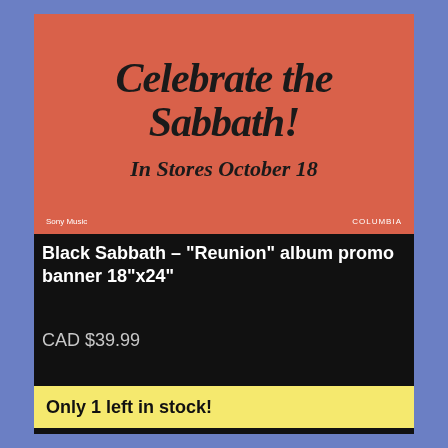[Figure (photo): Orange/red promotional banner reading 'Celebrate the Sabbath!' in large black gothic font, with 'In Stores October 18' below. Bottom left says 'Sony Music', bottom right says 'COLUMBIA'.]
Black Sabbath – "Reunion" album promo banner 18"x24"
CAD $39.99
Only 1 left in stock!